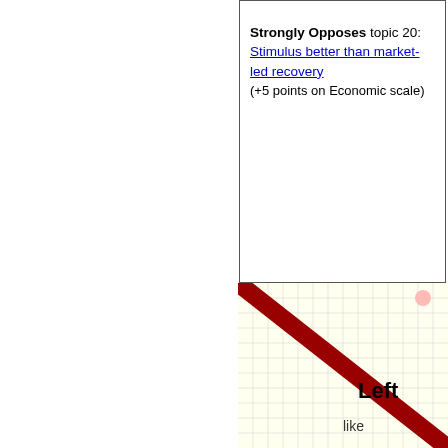Strongly Opposes topic 20: Stimulus better than market-led recovery (+5 points on Economic scale)
[Figure (other): Partial diagonal chart showing bottom-right corner with a red diagonal line and yellow grid, labeled 'Left' with partial text below]